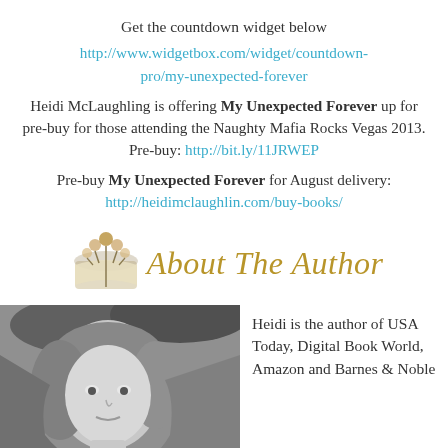Get the countdown widget below
http://www.widgetbox.com/widget/countdown-pro/my-unexpected-forever
Heidi McLaughling is offering My Unexpected Forever up for pre-buy for those attending the Naughty Mafia Rocks Vegas 2013. Pre-buy: http://bit.ly/11JRWEP
Pre-buy My Unexpected Forever for August delivery: http://heidimclaughlin.com/buy-books/
[Figure (illustration): About The Author banner with decorative book/quill illustration and script text]
[Figure (photo): Black and white photo of author Heidi McLaughlin]
Heidi is the author of USA Today, Digital Book World, Amazon and Barnes & Noble